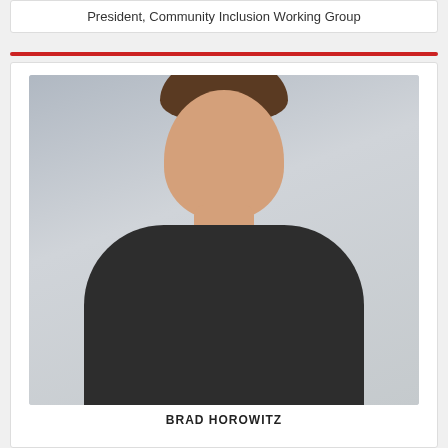President, Community Inclusion Working Group
[Figure (photo): Professional headshot of a smiling man in a dark blazer and blue patterned shirt, against a light gray background.]
BRAD HOROWITZ